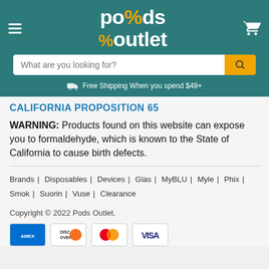[Figure (logo): Pods Outlet logo with percent sign in orange on teal background]
What are you looking for?
Free Shipping When you spend $49+
CALIFORNIA PROPOSITION 65
WARNING: Products found on this website can expose you to formaldehyde, which is known to the State of California to cause birth defects.
Brands | Disposables | Devices | Glas | MyBLU | Myle | Phix | Smok | Suorin | Vuse | Clearance
Copyright © 2022 Pods Outlet.
[Figure (other): Payment icons: AMEX, Discover, Mastercard, Visa]